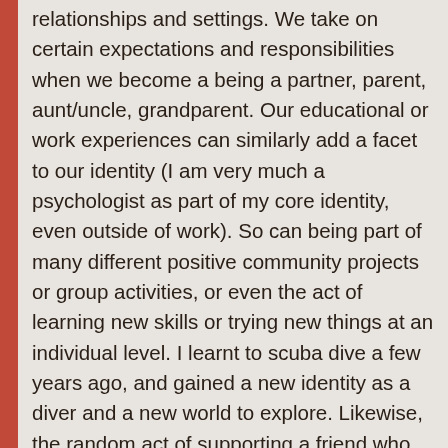relationships and settings. We take on certain expectations and responsibilities when we become a being a partner, parent, aunt/uncle, grandparent. Our educational or work experiences can similarly add a facet to our identity (I am very much a psychologist as part of my core identity, even outside of work). So can being part of many different positive community projects or group activities, or even the act of learning new skills or trying new things at an individual level. I learnt to scuba dive a few years ago, and gained a new identity as a diver and a new world to explore. Likewise, the random act of supporting a friend who wanted to set up as a personal trainer introduced me to weight lifting, and for a couple of years that became part of my identity too (for a th...